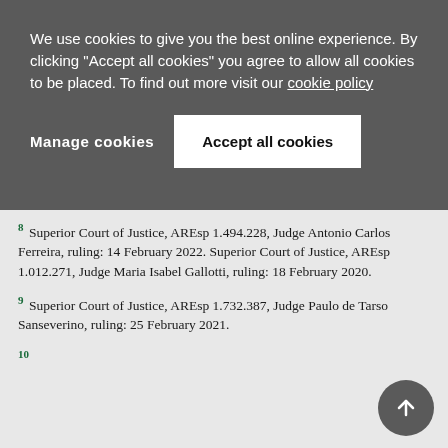We use cookies to give you the best online experience. By clicking "Accept all cookies" you agree to allow all cookies to be placed. To find out more visit our cookie policy
Manage cookies
Accept all cookies
8 Superior Court of Justice, AREsp 1.494.228, Judge Antonio Carlos Ferreira, ruling: 14 February 2022. Superior Court of Justice, AREsp 1.012.271, Judge Maria Isabel Gallotti, ruling: 18 February 2020.
9 Superior Court of Justice, AREsp 1.732.387, Judge Paulo de Tarso Sanseverino, ruling: 25 February 2021.
10